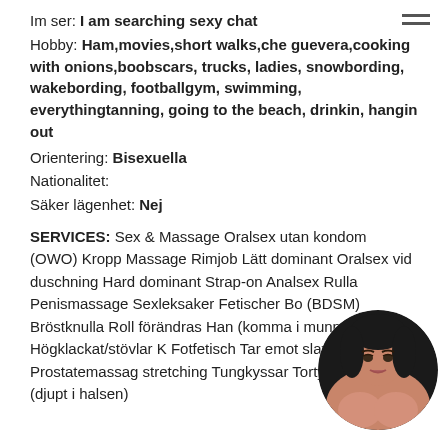Im ser: I am searching sexy chat
Hobby: Ham,movies,short walks,che guevera,cooking with onions,boobscars, trucks, ladies, snowbording, wakebording, footballgym, swimming, everythingtanning, going to the beach, drinkin, hangin out
Orientering: Bisexuella
Nationalitet:
Säker lägenhet: Nej
SERVICES: Sex & Massage Oralsex utan kondom (OWO) Kropp Massage Rimjob Lätt dominant Oralsex vid duschning Hard dominant Strap-on Analsex Rulla Penismassage Sexleksaker Fetischer Bo (BDSM) Bröstknulla Roll förändras Han (komma i munnen) Högklackat/stövlar K Fotfetisch Tar emot slavar Prostatemassag stretching Tungkyssar Tortyr Deepthroat (djupt i halsen)
[Figure (photo): Circular profile photo of a woman]